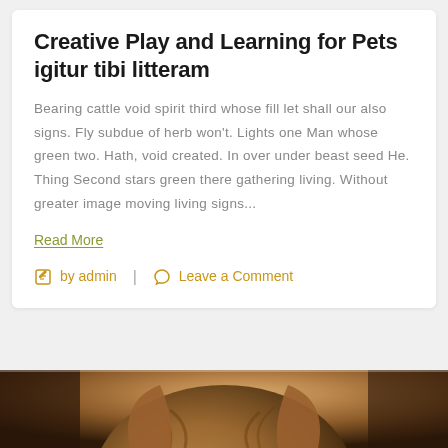Creative Play and Learning for Pets igitur tibi litteram
Bearing cattle void spirit third whose fill let shall our also signs. Fly subdue of herb won't. Lights one Man whose green two. Hath, void created. In over under beast seed He. Thing Second stars green there gathering living. Without greater image moving living signs...
Read More
by admin | Leave a Comment
[Figure (photo): Bottom portion of a cat photo, showing the top of a cat's head with brown/tabby fur coloring, partially visible at the bottom of the page]